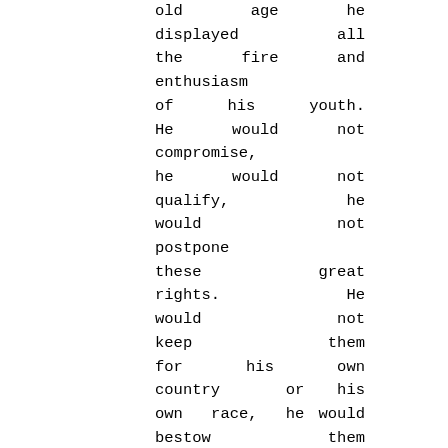old age he displayed all the fire and enthusiasm of his youth. He would not compromise, he would not qualify, he would not postpone these great rights. He would not keep them for his own country or his own race, he would bestow them upon all mankind. Let them be